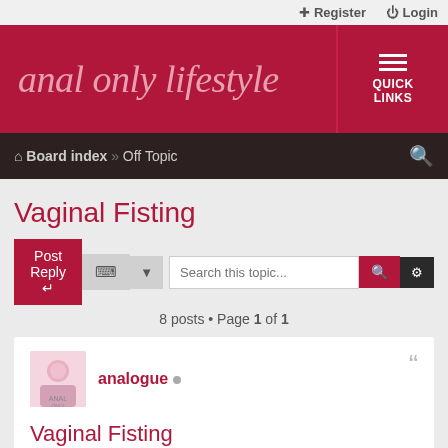Register  Login
anal only lifestyle
QUICK LINKS
Board index » Off Topic
Vaginal Fisting
Post Reply  Search this topic...
8 posts • Page 1 of 1
analogue •
Vaginal Fisting
Sun Feb 16, 2020 11:56 am